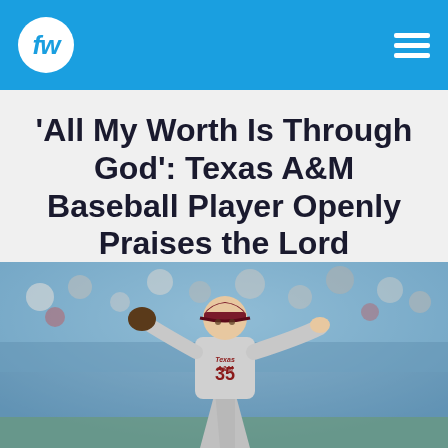fw (FanBuzz / FaithWire logo) — navigation header
'All My Worth Is Through God': Texas A&M Baseball Player Openly Praises the Lord
[Figure (photo): Texas A&M baseball pitcher wearing #35 gray uniform and maroon cap, mid-pitching motion at a crowded stadium with blurred spectators in background]